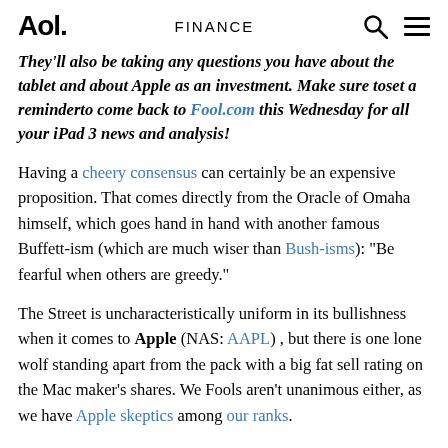Aol.   FINANCE
They'll also be taking any questions you have about the tablet and about Apple as an investment. Make sure toset a reminderto come back to Fool.com this Wednesday for all your iPad 3 news and analysis!
Having a cheery consensus can certainly be an expensive proposition. That comes directly from the Oracle of Omaha himself, which goes hand in hand with another famous Buffett-ism (which are much wiser than Bush-isms): "Be fearful when others are greedy."
The Street is uncharacteristically uniform in its bullishness when it comes to Apple (NAS: AAPL) , but there is one lone wolf standing apart from the pack with a big fat sell rating on the Mac maker's shares. We Fools aren't unanimous either, as we have Apple skeptics among our ranks.